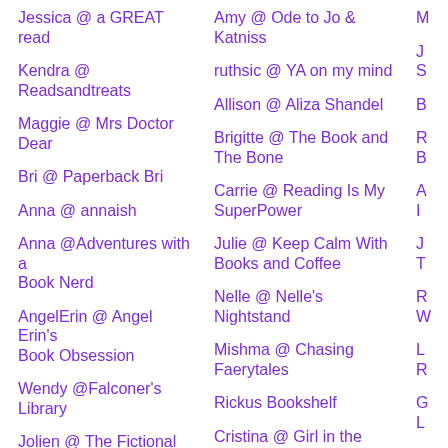Jessica @ a GREAT read
Kendra @ Readsandtreats
Maggie @ Mrs Doctor Dear
Bri @ Paperback Bri
Anna @ annaish
Anna @Adventures with a Book Nerd
AngelErin @ Angel Erin's Book Obsession
Wendy @Falconer's Library
Jolien @ The Fictional Reader
Ashley
Amy @ Ode to Jo & Katniss
ruthsic @ YA on my mind
Allison @ Aliza Shandel
Brigitte @ The Book and The Bone
Carrie @ Reading Is My SuperPower
Julie @ Keep Calm With Books and Coffee
Nelle @ Nelle's Nightstand
Mishma @ Chasing Faerytales
Rickus Bookshelf
Cristina @ Girl in the
M
J S
B
R B
A I
J T
R W
L R
G L
J